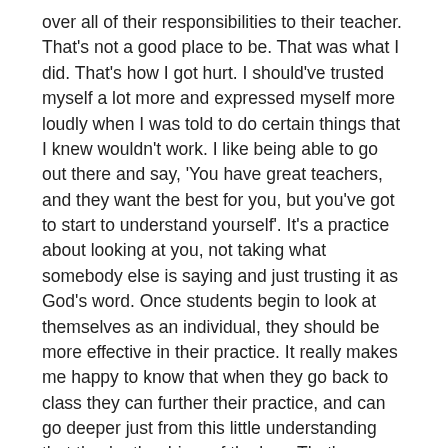over all of their responsibilities to their teacher. That's not a good place to be. That was what I did. That's how I got hurt. I should've trusted myself a lot more and expressed myself more loudly when I was told to do certain things that I knew wouldn't work. I like being able to go out there and say, 'You have great teachers, and they want the best for you, but you've got to start to understand yourself'. It's a practice about looking at you, not taking what somebody else is saying and just trusting it as God's word. Once students begin to look at themselves as an individual, they should be more effective in their practice. It really makes me happy to know that when they go back to class they can further their practice, and can go deeper just from this little understanding that they're the driver of the bus. That's my favorite part."
LS: “So you mentioned earlier, “that’s how I got hurt”. Specifically what injury did you have to work through?"
AC: “I herniated three disks in my back, ripped my SI